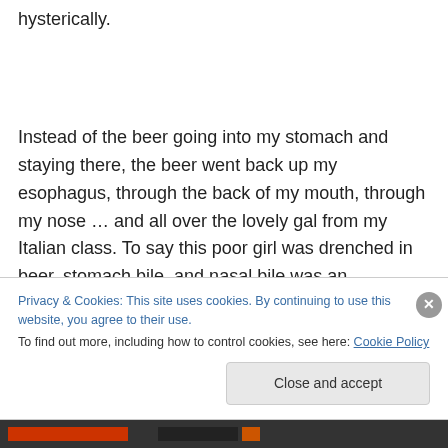hysterically.
Instead of the beer going into my stomach and staying there, the beer went back up my esophagus, through the back of my mouth, through my nose … and all over the lovely gal from my Italian class. To say this poor girl was drenched in beer, stomach bile, and nasal bile was an understatement. It was a mortifying moment for both of us.
Privacy & Cookies: This site uses cookies. By continuing to use this website, you agree to their use.
To find out more, including how to control cookies, see here: Cookie Policy